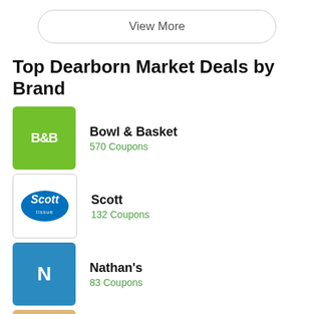View More
Top Dearborn Market Deals by Brand
Bowl & Basket
570 Coupons
Scott
132 Coupons
Nathan's
83 Coupons
Farmer's
1 Coupons
View More